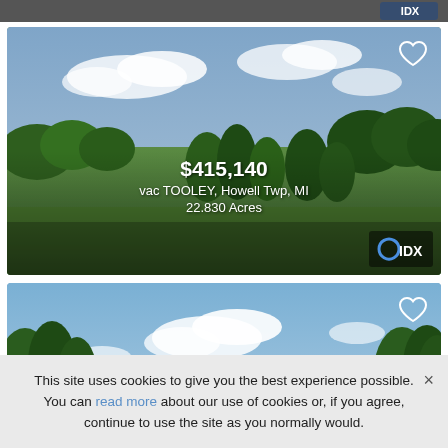[Figure (photo): Partial top of a real estate listing card, dark/blurred, partially scrolled out of view]
[Figure (photo): Real estate listing photo showing a green meadow with trees and cloudy sky. Price overlay: $415,140. Address: vac TOOLEY, Howell Twp, MI. Size: 22.830 Acres. IDX logo in bottom right. Heart/favorite icon in top right.]
$415,140
vac TOOLEY, Howell Twp, MI
22.830 Acres
[Figure (photo): Partial real estate listing photo showing trees and blue sky with clouds. Heart/favorite icon in top right. Listing card cut off at bottom.]
This site uses cookies to give you the best experience possible. You can read more about our use of cookies or, if you agree, continue to use the site as you normally would.